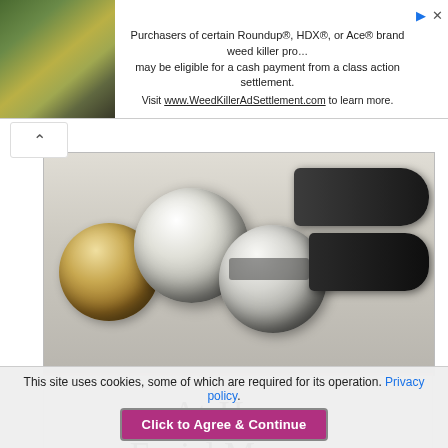[Figure (screenshot): Advertisement banner: image of yellow flowers/plants on left, text about Roundup, HDX, Ace brand weed killer class action settlement, with URL www.WeedKillerAdSettlement.com]
[Figure (photo): Photo of metallic and wooden massage balls/rollers on a light wooden surface]
At-Home Facial Massage
This site uses cookies, some of which are required for its operation. Privacy policy.
Click to Agree & Continue